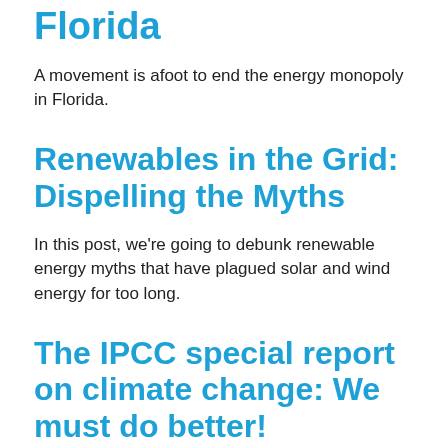Florida
A movement is afoot to end the energy monopoly in Florida.
Renewables in the Grid: Dispelling the Myths
In this post, we're going to debunk renewable energy myths that have plagued solar and wind energy for too long.
The IPCC special report on climate change: We must do better!